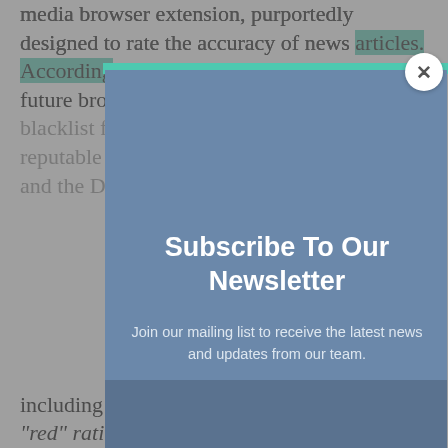media browser extension, purportedly designed to rate the accuracy of news articles. According to multiple mobile versions of a future browser, it blacklists or creates a news blacklist for rating it. News sites from reputable mainstream sources are reported, and the Daily Blog.
[Figure (screenshot): Newsletter subscription modal popup overlay on top of article text. Modal has a teal top bar, blue-grey background, white X close button in top-right corner. Contains bold white heading 'Subscribe To Our Newsletter' and light grey body text 'Join our mailing list to receive the latest news and updates from our team.' with a darker bottom strip.]
including Breitbart News, are given a "red" rating by the extension